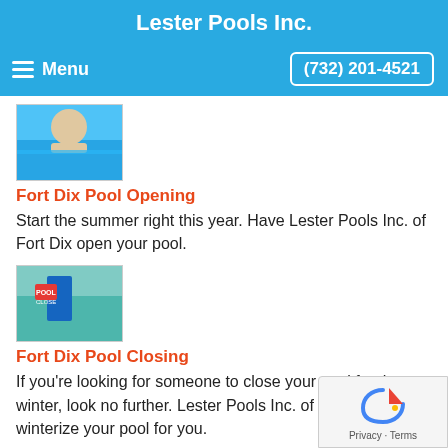Lester Pools Inc.
Menu   (732) 201-4521
[Figure (photo): Person swimming in pool]
Fort Dix Pool Opening
Start the summer right this year. Have Lester Pools Inc. of Fort Dix open your pool.
[Figure (photo): Pool closing service image with red sign]
Fort Dix Pool Closing
If you're looking for someone to close your pool for the winter, look no further. Lester Pools Inc. of Fort Dix will winterize your pool for you.
[Figure (photo): Blue pool water surface]
Fort Dix Commercial Pool Service